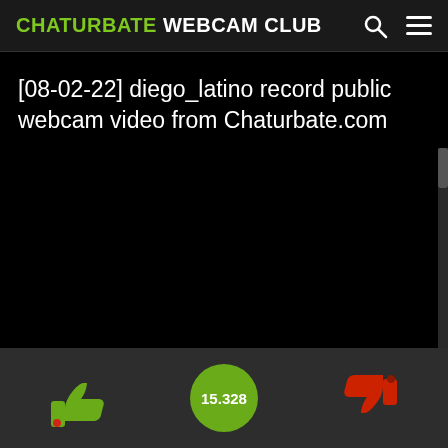CHATURBATE WEBCAM CLUB
[08-02-22] diego_latino record public webcam video from Chaturbate.com
[Figure (screenshot): Dark video player area, mostly black]
15.328